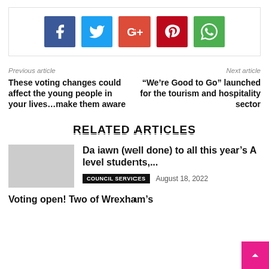[Figure (infographic): Social share buttons: Facebook (blue), Twitter (light blue), Google+ (red-orange), Pinterest (dark red), WhatsApp (green)]
Previous article
These voting changes could affect the young people in your lives…make them aware
Next article
“We’re Good to Go” launched for the tourism and hospitality sector
RELATED ARTICLES
Da iawn (well done) to all this year’s A level students,...
COUNCIL SERVICES    August 18, 2022
Voting open! Two of Wrexham’s